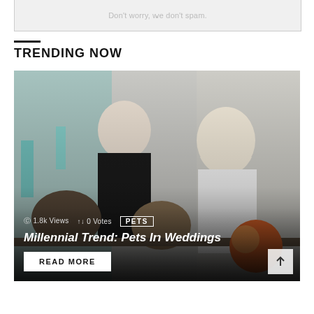Don't worry, we don't spam.
TRENDING NOW
[Figure (photo): Wedding photo of a groom in a black tuxedo with bow tie and a bride in a white halter dress holding an orange bouquet, both leaning over a rustic railing with two dogs beneath them — a smiling husky-mix and a blue merle Australian Shepherd. Background is a pale painted wall with teal/turquoise decorations.]
1.8k Views  0 Votes  PETS
Millennial Trend: Pets In Weddings
READ MORE